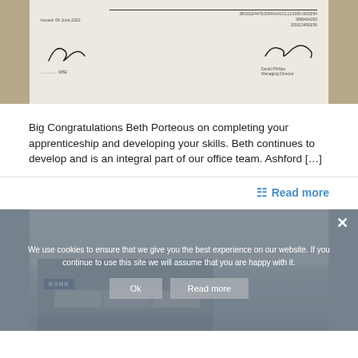[Figure (photo): A photograph of a document showing signatures, issue date, and reference numbers. Two signatures visible with printed names below.]
Big Congratulations Beth Porteous on completing your apprenticeship and developing your skills. Beth continues to develop and is an integral part of our office team.  Ashford [...]
Read more
[Figure (photo): Photograph of a building exterior (EVRE branded) with a cookie consent overlay dialog showing: 'We use cookies to ensure that we give you the best experience on our website. If you continue to use this site we will assume that you are happy with it.' with Ok and Read more buttons.]